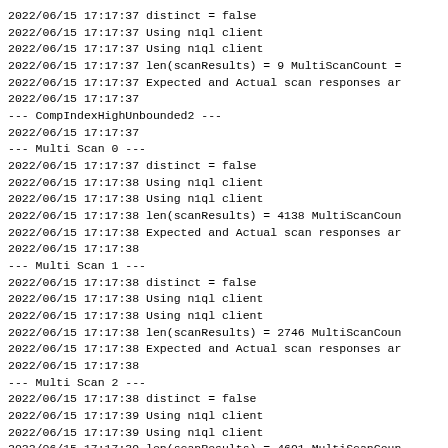2022/06/15 17:17:37 distinct = false
2022/06/15 17:17:37 Using n1ql client
2022/06/15 17:17:37 Using n1ql client
2022/06/15 17:17:37 len(scanResults) = 9 MultiScanCount =
2022/06/15 17:17:37 Expected and Actual scan responses ar
2022/06/15 17:17:37
--- CompIndexHighUnbounded2 ---
2022/06/15 17:17:37
--- Multi Scan 0 ---
2022/06/15 17:17:37 distinct = false
2022/06/15 17:17:38 Using n1ql client
2022/06/15 17:17:38 Using n1ql client
2022/06/15 17:17:38 len(scanResults) = 4138 MultiScanCoun
2022/06/15 17:17:38 Expected and Actual scan responses ar
2022/06/15 17:17:38
--- Multi Scan 1 ---
2022/06/15 17:17:38 distinct = false
2022/06/15 17:17:38 Using n1ql client
2022/06/15 17:17:38 Using n1ql client
2022/06/15 17:17:38 len(scanResults) = 2746 MultiScanCoun
2022/06/15 17:17:38 Expected and Actual scan responses ar
2022/06/15 17:17:38
--- Multi Scan 2 ---
2022/06/15 17:17:38 distinct = false
2022/06/15 17:17:39 Using n1ql client
2022/06/15 17:17:39 Using n1ql client
2022/06/15 17:17:39 len(scanResults) = 4691 MultiScanCoun
2022/06/15 17:17:39 Expected and Actual scan responses ar
2022/06/15 17:17:39
--- CompIndexHighUnbounded3 ---